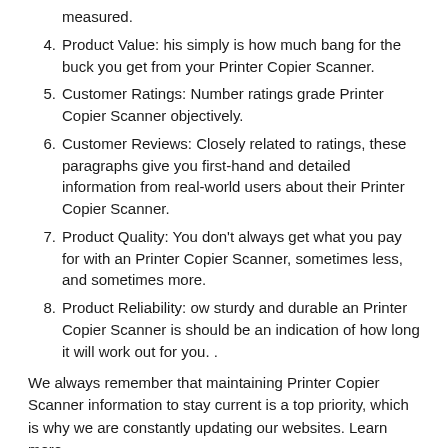measured.
Product Value: his simply is how much bang for the buck you get from your Printer Copier Scanner.
Customer Ratings: Number ratings grade Printer Copier Scanner objectively.
Customer Reviews: Closely related to ratings, these paragraphs give you first-hand and detailed information from real-world users about their Printer Copier Scanner.
Product Quality: You don't always get what you pay for with an Printer Copier Scanner, sometimes less, and sometimes more.
Product Reliability: ow sturdy and durable an Printer Copier Scanner is should be an indication of how long it will work out for you. .
We always remember that maintaining Printer Copier Scanner information to stay current is a top priority, which is why we are constantly updating our websites. Learn more